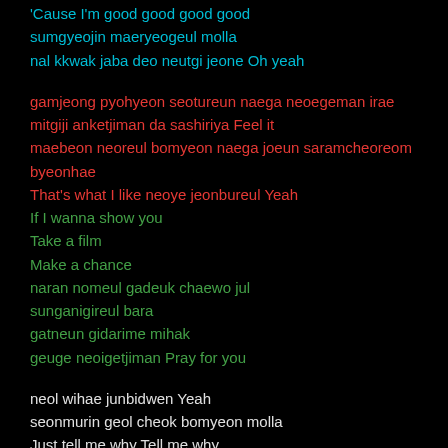'Cause I'm good good good good
sumgyeojin maeryeogeul molla
nal kkwak jaba deo neutgi jeone Oh yeah
gamjeong pyohyeon seotureun naega neoegeman irae
mitgiji anketjiman da sashiriya Feel it
maebeon neoreul bomyeon naega joeun saramcheoreom byeonhae
That's what I like neoye jeonbureul Yeah
If I wanna show you
Take a film
Make a chance
naran nomeul gadeuk chaewo jul
sunganigireul bara
gatneun gidarime mihak
geuge neoigetjiman Pray for you
neol wihae junbidwen Yeah
seonmurin geol cheok bomyeon molla
Just tell me why Tell me why
jinjjareul mollabwa Yeah
majimak Chance
cheoncheonhi bwa
neohiji mo